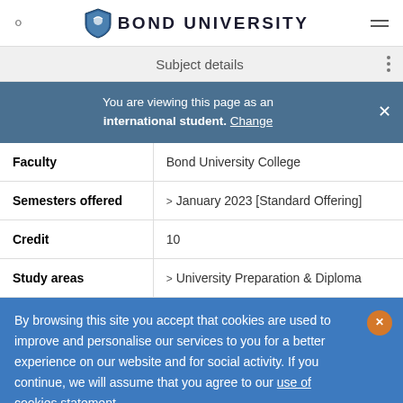BOND UNIVERSITY
Subject details
You are viewing this page as an international student. Change
| Field | Value |
| --- | --- |
| Faculty | Bond University College |
| Semesters offered | January 2023 [Standard Offering] |
| Credit | 10 |
| Study areas | University Preparation & Diploma |
By browsing this site you accept that cookies are used to improve and personalise our services to you for a better experience on our website and for social activity. If you continue, we will assume that you agree to our use of cookies statement.